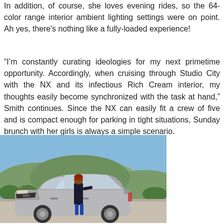In addition, of course, she loves evening rides, so the 64-color range interior ambient lighting settings were on point. Ah yes, there's nothing like a fully-loaded experience!
“I’m constantly curating ideologies for my next primetime opportunity. Accordingly, when cruising through Studio City with the NX and its infectious Rich Cream interior, my thoughts easily become synchronized with the task at hand,” Smith continues. Since the NX can easily fit a crew of five and is compact enough for parking in tight situations, Sunday brunch with her girls is always a simple scenario.
[Figure (photo): A woman standing beside a silver Lexus NX SUV in an outdoor parking area with hills and blue sky in the background.]